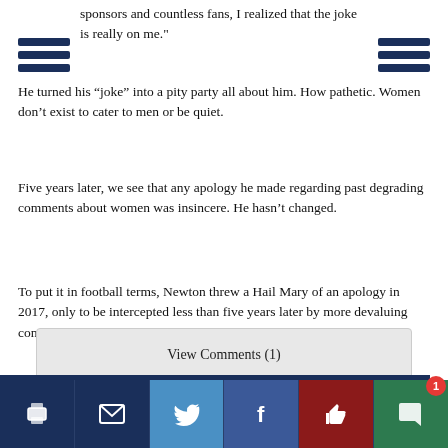sponsors and countless fans, I realized that the joke is really on me."
He turned his “joke” into a pity party all about him. How pathetic. Women don’t exist to cater to men or be quiet.
Five years later, we see that any apology he made regarding past degrading comments about women was insincere. He hasn’t changed.
To put it in football terms, Newton threw a Hail Mary of an apology in 2017, only to be intercepted less than five years later by more devaluing comments toward women.
Ness’s Notes
Opinion
Showcase
View Comments (1)